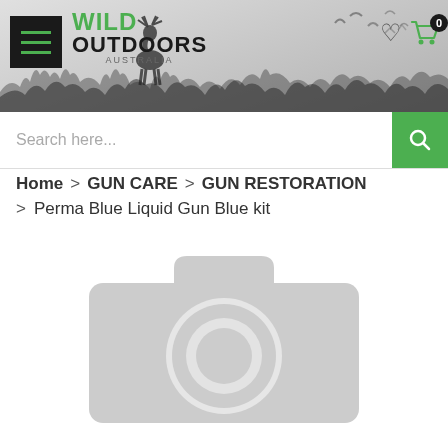[Figure (screenshot): Wild Outdoors Australia website header with hamburger menu, deer and bird silhouettes, heart and cart icons on a nature background]
Search here...
Home > GUN CARE > GUN RESTORATION > Perma Blue Liquid Gun Blue kit
[Figure (photo): Product image placeholder showing a grey camera icon (no image available)]